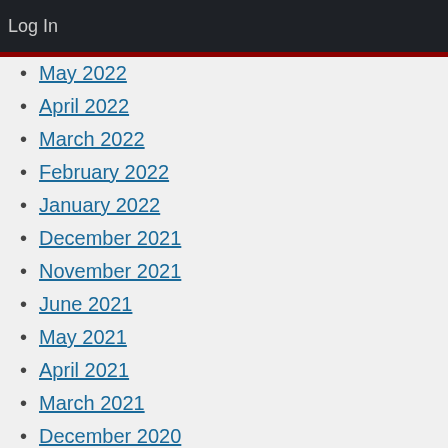Log In
May 2022
April 2022
March 2022
February 2022
January 2022
December 2021
November 2021
June 2021
May 2021
April 2021
March 2021
December 2020
November 2020
October 2020
September 2020
August 2020
July 2020